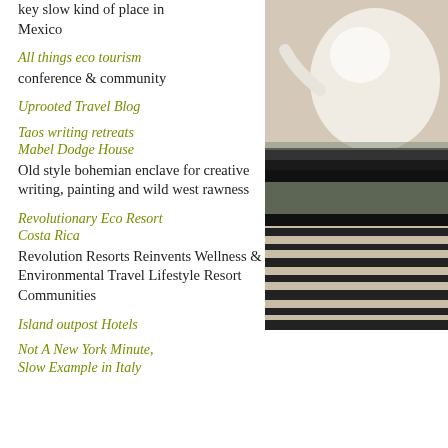key slow kind of place in Mexico
All things eco tourism
conference & community
Uprooted Travel Blog
Taos writing retreats Mabel Dodge House
Old style bohemian enclave for creative writing, painting and wild west rawness
Revolutionary Eco Resort Costa Rica
Revolution Resorts Reinvents Wellness & Environmental Travel Lifestyle Resort Communities
Island outpost Hotels
Not A New York Minute, Slow Example in Italy
[Figure (photo): Photo of a white ceramic teapot on a glass table with a zebra-patterned surface or reflection visible below]
Puka Shell
Photos of Fa